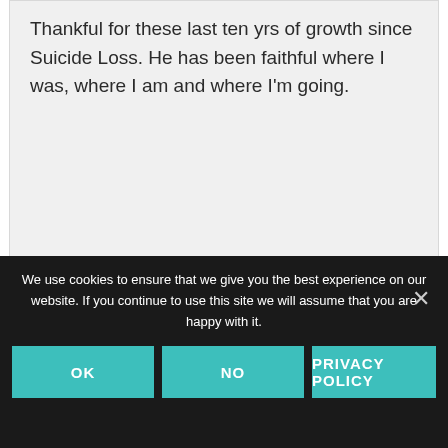Thankful for these last ten yrs of growth since Suicide Loss. He has been faithful where I was, where I am and where I'm going.
Reply
We use cookies to ensure that we give you the best experience on our website. If you continue to use this site we will assume that you are happy with it.